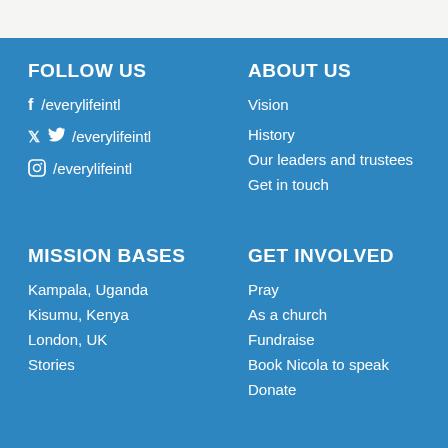FOLLOW US
f /everylifeintl
t /everylifeintl
instagram /everylifeintl
ABOUT US
Vision
History
Our leaders and trustees
Get in touch
MISSION BASES
Kampala, Uganda
Kisumu, Kenya
London, UK
Stories
GET INVOLVED
Pray
As a church
Fundraise
Book Nicola to speak
Donate